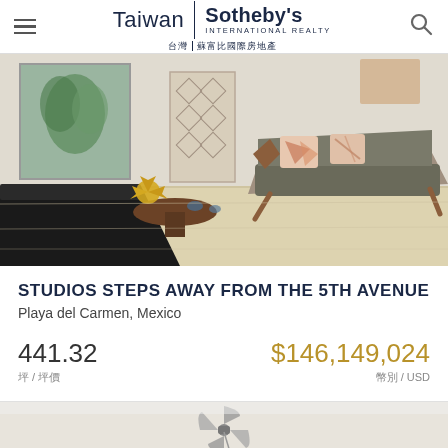Taiwan | Sotheby's International Realty 台灣 | 蘇富比國際房地產
[Figure (photo): Interior living room photo showing a wooden-framed sofa with gray cushions and patterned pillows, a black lounge chair with decorative plant, marble-look tile floor, and a decorative screen divider near a window with tropical greenery outside.]
STUDIOS STEPS AWAY FROM THE 5TH AVENUE
Playa del Carmen, Mexico
441.32
坪 / 坪價
$146,149,024
幣別 / USD
[Figure (photo): Partial view of another property listing photo showing a white ceiling with a fan/light fixture.]